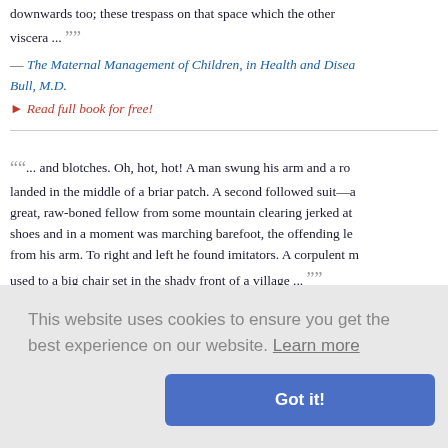downwards too; these trespass on that space which the other viscera ...
— The Maternal Management of Children, in Health and Disease • Bull, M.D.
▸ Read full book for free!
" ... and blotches. Oh, hot, hot! A man swung his arm and a ro landed in the middle of a briar patch. A second followed suit—a great, raw-boned fellow from some mountain clearing jerked at shoes and in a moment was marching barefoot, the offending le from his arm. To right and left he found imitators. A corpulent m used to a big chair set in the shady front of a village ... "
— The Long Roll • Mary Johnston
▸ Read full book for free!
grimacing; forbid you ly, helpless
omplete • C
Holmes, Sr.
This website uses cookies to ensure you get the best experience on our website. Learn more
Got it!